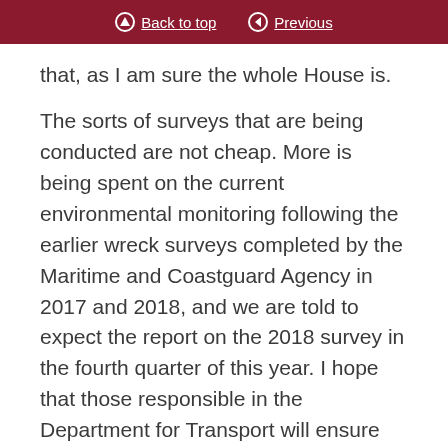Back to top | Previous
that, as I am sure the whole House is.
The sorts of surveys that are being conducted are not cheap. More is being spent on the current environmental monitoring following the earlier wreck surveys completed by the Maritime and Coastguard Agency in 2017 and 2018, and we are told to expect the report on the 2018 survey in the fourth quarter of this year. I hope that those responsible in the Department for Transport will ensure the publication of that environmental assessment. We certainly need to be told about it. Nothing is being wasted by all the money that has been spent. It has been spent to protect people, land and life. It has also led to considerable advances, which are not to be sneered at, in the